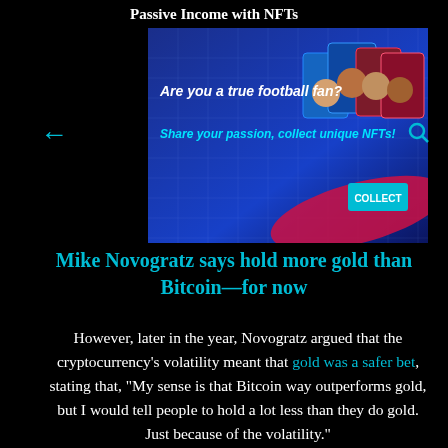Passive Income with NFTs
[Figure (illustration): Advertisement banner with blue gradient background showing text 'Are you a true football fan? Share your passion, collect unique NFTs!' with football player card images on the right and a 'COLLECT' button]
Mike Novogratz says hold more gold than Bitcoin—for now
However, later in the year, Novogratz argued that the cryptocurrency's volatility meant that gold was a safer bet, stating that, "My sense is that Bitcoin way outperforms gold, but I would tell people to hold a lot less than they do gold. Just because of the volatility."